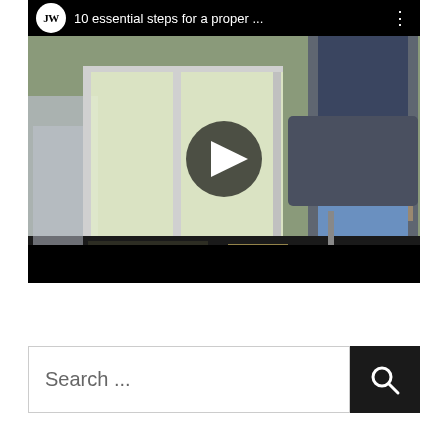[Figure (screenshot): A YouTube-style video thumbnail showing a worker installing or repairing a window. The video title reads '10 essential steps for a proper ...' with a JW channel logo on the left. A play button triangle is visible in the center of the video. The bottom of the video player is black.]
[Figure (screenshot): A search bar with placeholder text 'Search ...' and a dark search button with a magnifying glass icon on the right.]